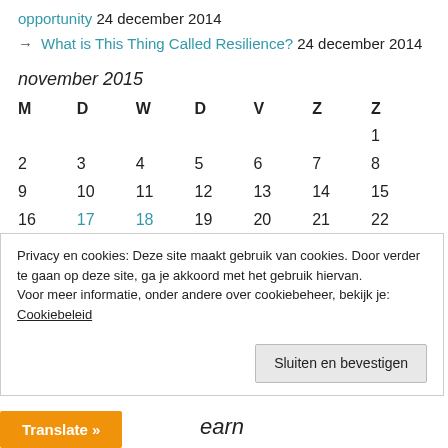opportunity 24 december 2014
→ What is This Thing Called Resilience? 24 december 2014
november 2015
| M | D | W | D | V | Z | Z |
| --- | --- | --- | --- | --- | --- | --- |
|  |  |  |  |  |  | 1 |
| 2 | 3 | 4 | 5 | 6 | 7 | 8 |
| 9 | 10 | 11 | 12 | 13 | 14 | 15 |
| 16 | 17 | 18 | 19 | 20 | 21 | 22 |
| 23 | 24 | 25 | 26 | 27 | 28 | 29 |
| 30 |  |  |  |  |  |  |
Privacy en cookies: Deze site maakt gebruik van cookies. Door verder te gaan op deze site, ga je akkoord met het gebruik hiervan. Voor meer informatie, onder andere over cookiebeheer, bekijk je: Cookiebeleid
Sluiten en bevestigen
Translate »
earn